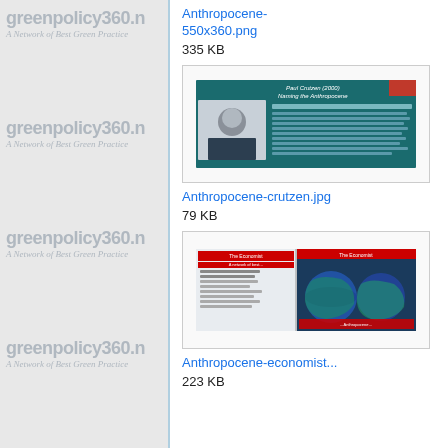[Figure (screenshot): Website sidebar with greenpolicy360.net watermark logos repeated four times]
Anthropocene-
550x360.png
335 KB
[Figure (screenshot): Thumbnail of Anthropocene-crutzen.jpg showing Paul Crutzen (2000) Naming the Anthropocene slide with a photo of a man and text]
Anthropocene-crutzen.jpg
79 KB
[Figure (screenshot): Thumbnail of Anthropocene-economist image showing The Economist magazine pages with globe imagery]
Anthropocene-economist...
223 KB